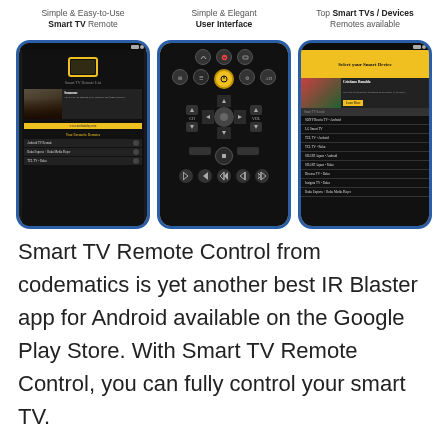[Figure (screenshot): Three smartphone screenshots of the Smart TV Remote Control app from codematics. Left phone shows 'Simple & Easy-to-Use Smart TV Remote' with the app's home screen listing Android TV Remote, Roku Express, and TCL TV Roku. Middle phone shows 'Simple & Elegant User Interface' with a black remote control interface with circular D-pad. Right phone shows 'Top Smart TVs / Devices Remotes available' with a device selection list including Sony, LG, TCL, SHARP, Hisense, Insignia, and Roku devices.]
Smart TV Remote Control from codematics is yet another best IR Blaster app for Android available on the Google Play Store. With Smart TV Remote Control, you can fully control your smart TV.